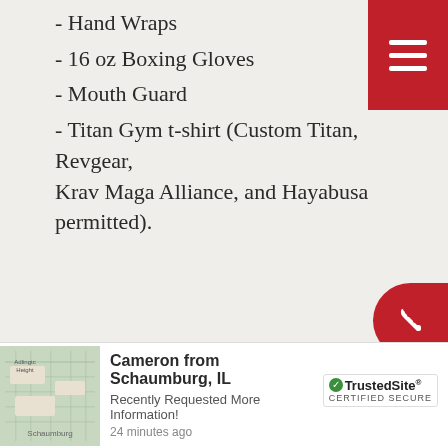- Hand Wraps
- 16 oz Boxing Gloves
- Mouth Guard
- Titan Gym t-shirt (Custom Titan, Revgear, Krav Maga Alliance, and Hayabusa permitted).
MUAY THAI
- Hand Wraps
- 16 oz Boxing Gloves
- Mouth Guard
- Shin Guards
- Titan Gym t-shirt (Custom Titan, Revgear, Krav Maga Alliance, and Hayabusa permitted).
Cameron from Schaumburg, IL
Recently Requested More Information!
24 minutes ago